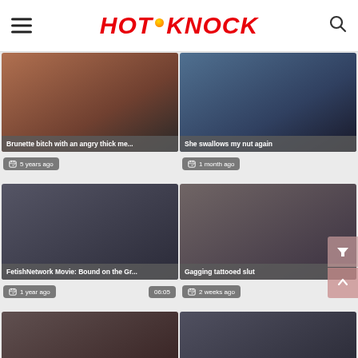HOT KNOCK
[Figure (screenshot): Video thumbnail 1: Brunette bitch with an angry thick me...]
Brunette bitch with an angry thick me...
5 years ago
[Figure (screenshot): Video thumbnail 2: She swallows my nut again]
She swallows my nut again
1 month ago
[Figure (screenshot): Video thumbnail 3: FetishNetwork Movie: Bound on the Gr...]
FetishNetwork Movie: Bound on the Gr...
1 year ago   06:05
[Figure (screenshot): Video thumbnail 4: Gagging tattooed slut]
Gagging tattooed slut
2 weeks ago
[Figure (screenshot): Video thumbnail 5: Busty POV babe deepthroating and ga...]
Busty POV babe deepthroating and ga...
[Figure (screenshot): Video thumbnail 6: Hogtied gagged brunette drooling]
Hogtied gagged brunette drooling